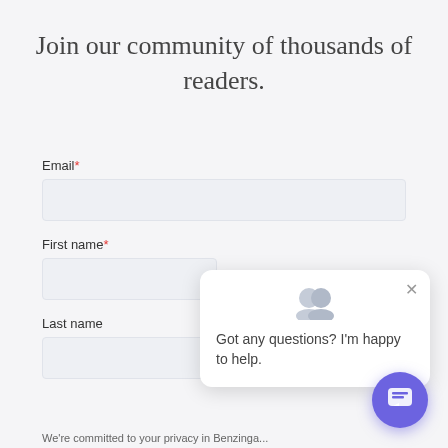Join our community of thousands of readers.
Email*
First name*
Last name
Got any questions? I'm happy to help.
We're committed to your privacy in Benzinga...